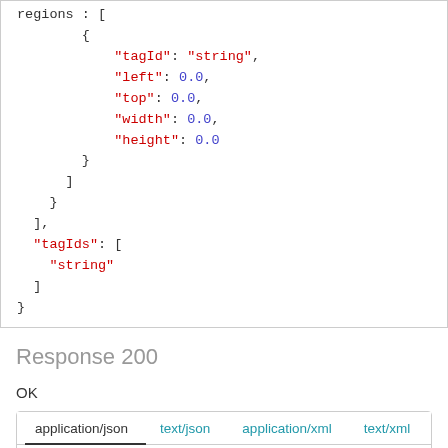[Figure (screenshot): JSON code block showing partial JSON schema with fields: regions array containing tagId, left, top, width, height properties, followed by tagIds array with string value]
Response 200
OK
[Figure (screenshot): Tab bar showing content-type tabs: application/json (active), text/json, application/xml, text/xml, with Sample and Schema sub-tabs below]